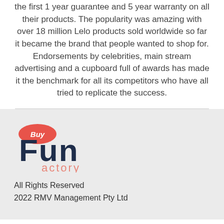the first 1 year guarantee and 5 year warranty on all their products. The popularity was amazing with over 18 million Lelo products sold worldwide so far it became the brand that people wanted to shop for. Endorsements by celebrities, main stream advertising and a cupboard full of awards has made it the benchmark for all its competitors who have all tried to replicate the success.
[Figure (logo): Buy Fun Factory logo — 'Buy' in white text on a red/coral oval badge, followed by 'Fun' in large dark navy rounded font, and 'factory' in salmon/coral lowercase letters below]
All Rights Reserved
2022 RMV Management Pty Ltd